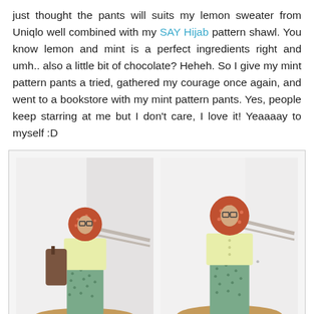just thought the pants will suits my lemon sweater from Uniqlo well combined with my SAY Hijab pattern shawl. You know lemon and mint is a perfect ingredients right and umh.. also a little bit of chocolate? Heheh. So I give my mint pattern pants a tried, gathered my courage once again, and went to a bookstore with my mint pattern pants. Yes, people keep starring at me but I don't care, I love it! Yeaaaay to myself :D
[Figure (photo): Two side-by-side photos of a woman wearing a red patterned hijab, yellow sweater, and mint green patterned pants, standing in a light-colored room with a wooden stool/bench. Left photo: full body with a bag. Right photo: closer shot, standing on/near the stool.]